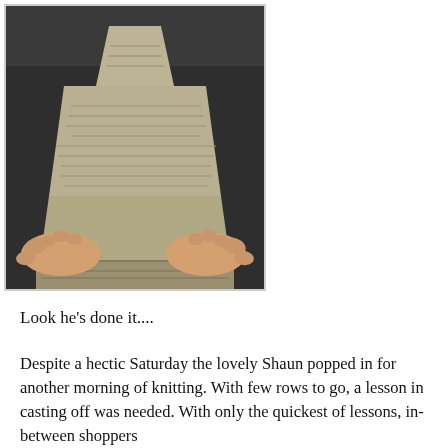[Figure (photo): A person wearing a dark jacket holds up a knitted scarf or piece of knitting with both hands. The knitted item is beige/tan colored in a garter or stockinette stitch pattern, wider at the bottom and narrower toward the top.]
Look he's done it....
Despite a hectic Saturday the lovely Shaun popped in for another morning of knitting. With few rows to go, a lesson in casting off was needed. With only the quickest of lessons, in-between shoppers